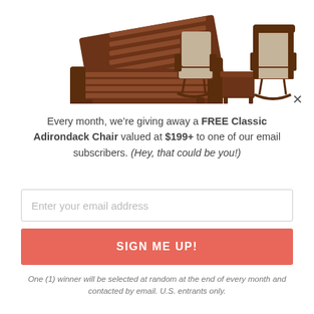[Figure (photo): Two outdoor furniture product photos: left shows a dark brown slatted chaise lounge chair with wheels; right shows a 3-piece set with two cushioned rocking chairs and a small side table in dark wood with tan cushions.]
Every month, we’re giving away a FREE Classic Adirondack Chair valued at $199+ to one of our email subscribers. (Hey, that could be you!)
Enter your email address
SIGN ME UP!
One (1) winner will be selected at random at the end of every month and contacted by email. U.S. entrants only.